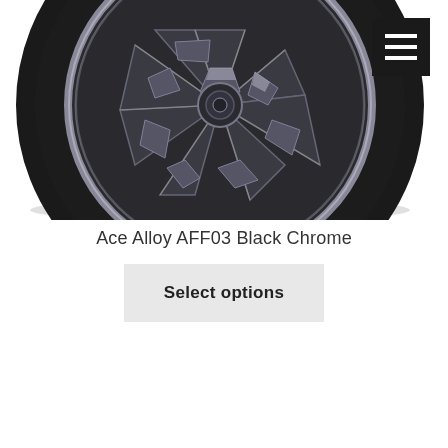[Figure (photo): Close-up photo of an Ace Alloy AFF03 Black Chrome alloy wheel showing intricate geometric spoke design with dark chrome metallic finish, viewed from a slight angle on a white background.]
Ace Alloy AFF03 Black Chrome
Select options